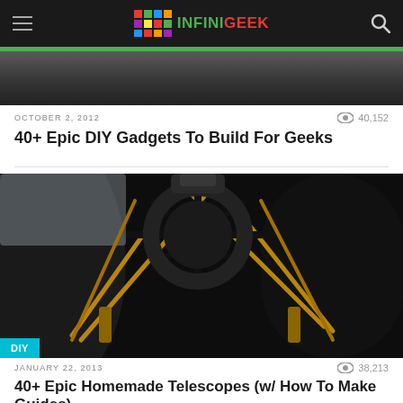INFINIGEEK
[Figure (photo): Top portion of a previous article image (dark/grey cropped photo strip)]
OCTOBER 2, 2012   40,152
40+ Epic DIY Gadgets To Build For Geeks
[Figure (photo): Close-up photograph of a large DIY reflector telescope showing the secondary mirror spider and truss tubes against a dark tube assembly. A DIY badge is shown in the bottom-left corner.]
JANUARY 22, 2013   38,213
40+ Epic Homemade Telescopes (w/ How To Make Guides)